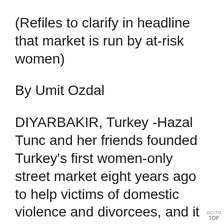(Refiles to clarify in headline that market is run by at-risk women)
By Umit Ozdal
DIYARBAKIR, Turkey -Hazal Tunc and her friends founded Turkey’s first women-only street market eight years ago to help victims of domestic violence and divorcees, and it has provided them with jobs and security – until now.
Like organisations and companies across Turkey, the market has seen business dramatically as a result of
GO TO TOP